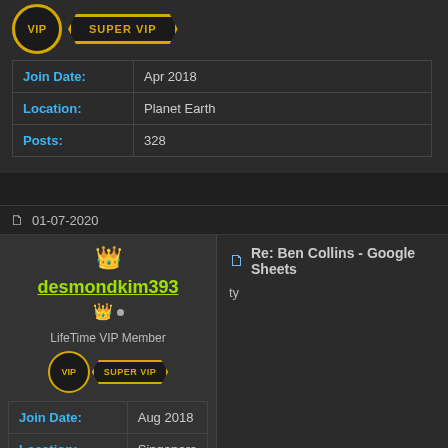| Field | Value |
| --- | --- |
| Join Date: | Apr 2018 |
| Location: | Planet Earth |
| Posts: | 328 |
01-07-2020
desmondkim393
LifeTime VIP Member
| Field | Value |
| --- | --- |
| Join Date: | Aug 2018 |
| Location: | Singapore |
| Posts: | 269 |
Re: Ben Collins - Google Sheets
ty
01-07-2020